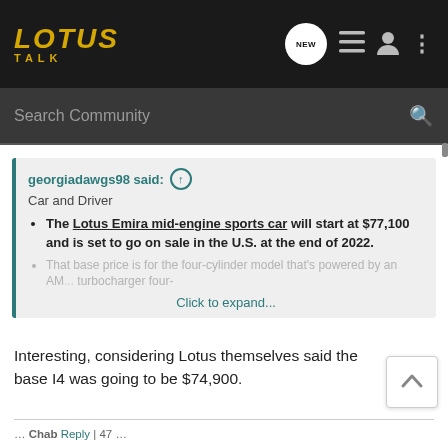LOTUS TALK
Search Community
georgiadawgs98 said: ↑
Car and Driver
• The Lotus Emira mid-engine sports car will start at $77,100 and is set to go on sale in the U.S. at the end of 2022.
• That base price is for the four-cylinder model that's powered by an AMG-supplied turbo... [Click to expand...]
Interesting, considering Lotus themselves said the base I4 was going to be $74,900.